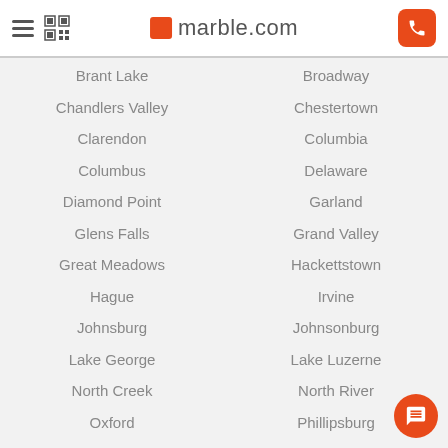marble.com
Brant Lake
Broadway
Chandlers Valley
Chestertown
Clarendon
Columbia
Columbus
Delaware
Diamond Point
Garland
Glens Falls
Grand Valley
Great Meadows
Hackettstown
Hague
Irvine
Johnsburg
Johnsonburg
Lake George
Lake Luzerne
North Creek
North River
Oxford
Phillipsburg
Pittsfield
Port Murray
Pottersville
Queensbury